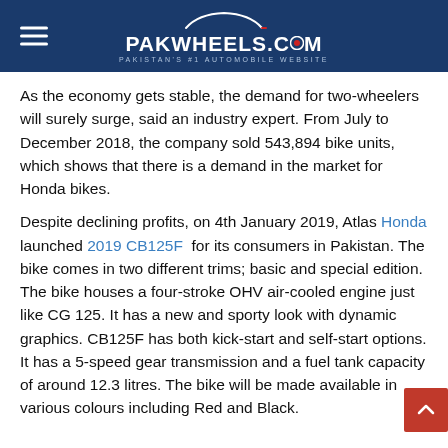PAKWHEELS.COM — PAKISTAN'S #1 AUTOMOBILE WEBSITE
As the economy gets stable, the demand for two-wheelers will surely surge, said an industry expert. From July to December 2018, the company sold 543,894 bike units, which shows that there is a demand in the market for Honda bikes.
Despite declining profits, on 4th January 2019, Atlas Honda launched 2019 CB125F for its consumers in Pakistan. The bike comes in two different trims; basic and special edition. The bike houses a four-stroke OHV air-cooled engine just like CG 125. It has a new and sporty look with dynamic graphics. CB125F has both kick-start and self-start options. It has a 5-speed gear transmission and a fuel tank capacity of around 12.3 litres. The bike will be made available in various colours including Red and Black.
Aside from Atlas Honda, Honda Atlas Cars (Pakistan) Limited